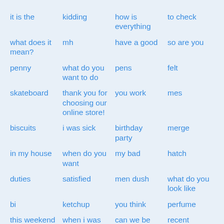it is the
kidding
how is everything
to check
what does it mean?
mh
have a good
so are you
penny
what do you want to do
pens
felt
skateboard
thank you for choosing our online store!
you work
mes
biscuits
i was sick
birthday party
merge
in my house
when do you want
my bad
hatch
duties
satisfied
men dush
what do you look like
bi
ketchup
you think
perfume
this weekend
when i was
can we be friends?
recent